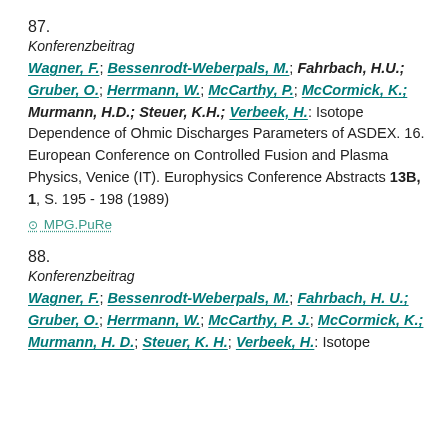87.
Konferenzbeitrag
Wagner, F.; Bessenrodt-Weberpals, M.; Fahrbach, H.U.; Gruber, O.; Herrmann, W.; McCarthy, P.; McCormick, K.; Murmann, H.D.; Steuer, K.H.; Verbeek, H.: Isotope Dependence of Ohmic Discharges Parameters of ASDEX. 16. European Conference on Controlled Fusion and Plasma Physics, Venice (IT). Europhysics Conference Abstracts 13B, 1, S. 195 - 198 (1989)
MPG.PuRe
88.
Konferenzbeitrag
Wagner, F.; Bessenrodt-Weberpals, M.; Fahrbach, H. U.; Gruber, O.; Herrmann, W.; McCarthy, P. J.; McCormick, K.; Murmann, H. D.; Steuer, K. H.; Verbeek, H.: Isotope